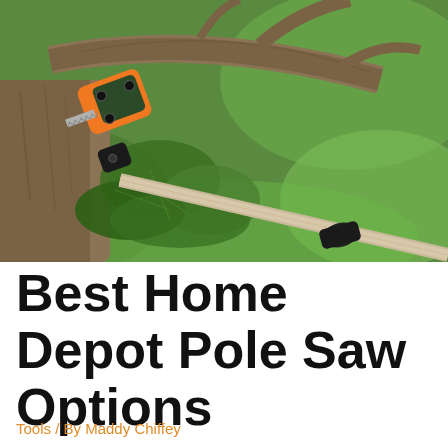[Figure (photo): Close-up photo of a pole saw (pruning saw tool) with orange and dark green/black head attachments cutting a tree branch, with green foliage and grass visible in the background.]
Best Home Depot Pole Saw Options
Tools / By Maddy Chiffey